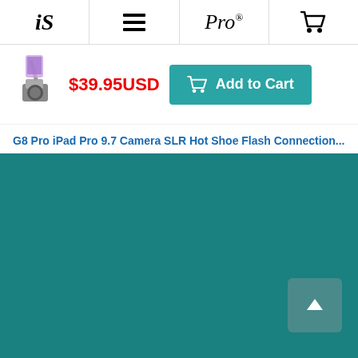iS  ≡  Pro®  🛒
[Figure (photo): Small product thumbnail of G8 Pro iPad camera SLR hot shoe mount accessory]
$39.95USD
Add to Cart
G8 Pro iPad Pro 9.7 Camera SLR Hot Shoe Flash Connection...